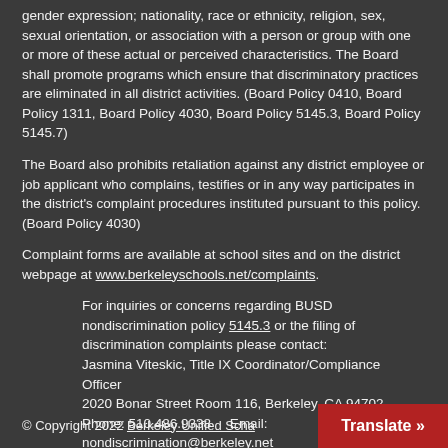gender expression; nationality, race or ethnicity, religion, sex, sexual orientation, or association with a person or group with one or more of these actual or perceived characteristics. The Board shall promote programs which ensure that discriminatory practices are eliminated in all district activities. (Board Policy 0410, Board Policy 1311, Board Policy 4030, Board Policy 5145.3, Board Policy 5145.7)
The Board also prohibits retaliation against any district employee or job applicant who complains, testifies or in any way participates in the district's complaint procedures instituted pursuant to this policy. (Board Policy 4030)
Complaint forms are available at school sites and on the district webpage at www.berkeleyschools.net/complaints.
For inquiries or concerns regarding BUSD nondiscrimination policy 5145.3 or the filing of discrimination complaints please contact:
Jasmina Viteskic, Title IX Coordinator/Compliance Officer
2020 Bonar Street Room 116, Berkeley, CA 94702
Phone: 510.486.9338    Email: nondiscrimination@berkeley.net
More information is available at www.berkeleyschools.net/non-discrimination/.
© Copyright 2022 Berkeley Unified Scha... Translate »